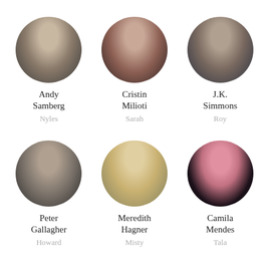[Figure (photo): Circular portrait photo of Andy Samberg]
Andy Samberg
Nyles
[Figure (photo): Circular portrait photo of Cristin Milioti]
Cristin Milioti
Sarah
[Figure (photo): Circular portrait photo of J.K. Simmons]
J.K. Simmons
Roy
[Figure (photo): Circular portrait photo of Peter Gallagher]
Peter Gallagher
Howard
[Figure (photo): Circular portrait photo of Meredith Hagner]
Meredith Hagner
Misty
[Figure (photo): Circular portrait photo of Camila Mendes]
Camila Mendes
Tala